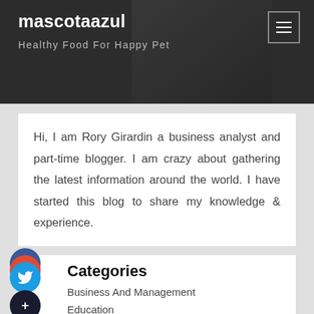mascotaazul
Healthy Food For Happy Pet
Hi, I am Rory Girardin a business analyst and part-time blogger. I am crazy about gathering the latest information around the world. I have started this blog to share my knowledge & experience.
Categories
Business And Management
Education
Health and Fitness